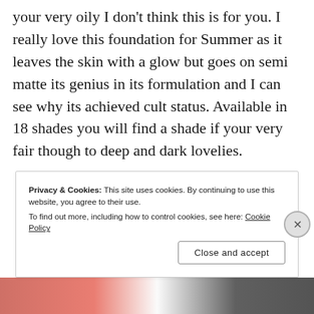your very oily I don't think this is for you. I really love this foundation for Summer as it leaves the skin with a glow but goes on semi matte its genius in its formulation and I can see why its achieved cult status. Available in 18 shades you will find a shade if your very fair though to deep and dark lovelies.
Privacy & Cookies: This site uses cookies. By continuing to use this website, you agree to their use.
To find out more, including how to control cookies, see here: Cookie Policy